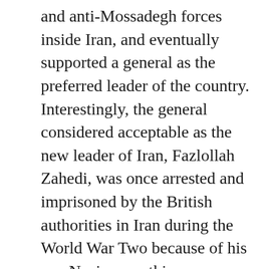and anti-Mossadegh forces inside Iran, and eventually supported a general as the preferred leader of the country. Interestingly, the general considered acceptable as the new leader of Iran, Fazlollah Zahedi, was once arrested and imprisoned by the British authorities in Iran during the World War Two because of his pro-Nazi sympathies.
Mossadegh was a nationalist, who united various political forces behind him. While anti-Communist, he allowed the Iranian communist party, the Tudeh, to organise openly and conduct their political activities free from state